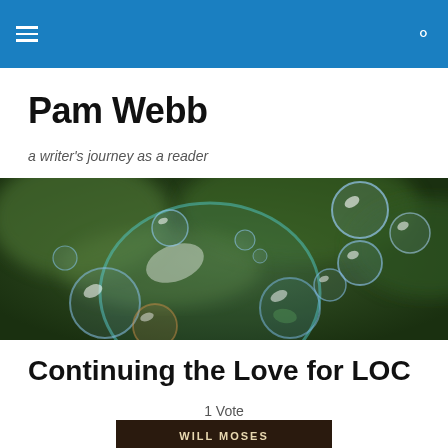Navigation header bar with hamburger menu and search icon
Pam Webb
a writer's journey as a reader
[Figure (photo): Close-up photo of soap bubbles floating against a blurred green background]
Continuing the Love for LOC
1 Vote
[Figure (photo): Partial book cover showing 'WILL MOSES' text on dark brown background]